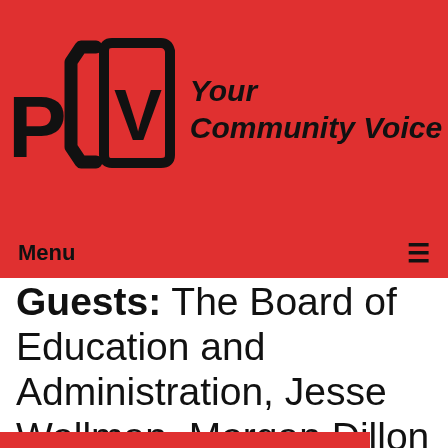[Figure (logo): PCTV logo with text 'Your Community Voice' on red background]
Menu ≡
Guests: The Board of Education and Administration, Jesse Wollman, Morgan Dillon
Watched: 35 times
[Figure (screenshot): Thumbnail showing 'The Village Board Meeting of October 29, 2013' on black background]
[Figure (other): reCAPTCHA badge with Privacy and Terms links]